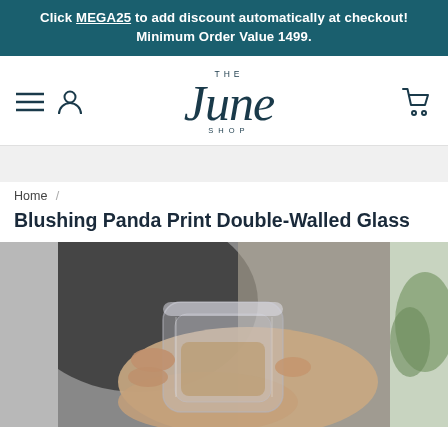Click MEGA25 to add discount automatically at checkout! Minimum Order Value 1499.
[Figure (logo): THE June SHOP logo in dark teal serif italic font]
Home /
Blushing Panda Print Double-Walled Glass
[Figure (photo): Close-up photo of a person holding a clear double-walled glass with a warm drink inside]